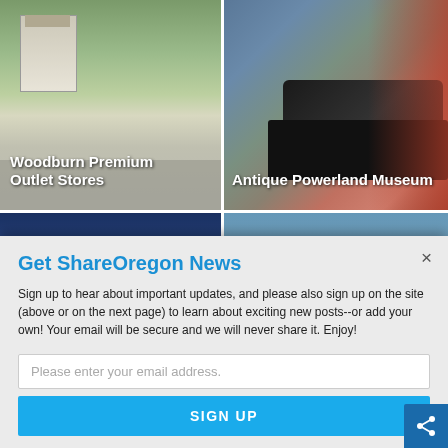[Figure (photo): Woodburn Premium Outlet Stores - outdoor shopping center with sign and parking lot]
[Figure (photo): Antique Powerland Museum - vintage steam locomotive with red building]
[Figure (photo): Enjoy Vine Side Wine Tasting at Raptor Ridge - winery at dusk with warm sky]
[Figure (photo): Henry Hagg Lake - scenic lake surrounded by trees and forested hills]
Get ShareOregon News
Sign up to hear about important updates, and please also sign up on the site (above or on the next page) to learn about exciting new posts--or add your own! Your email will be secure and we will never share it. Enjoy!